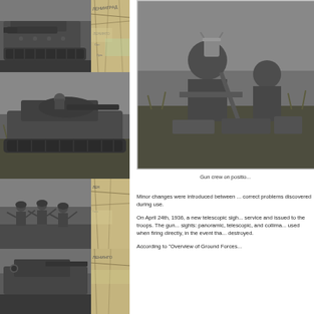[Figure (photo): Black and white photo collage on left side showing: top-left a tank with large gun barrel, top-right a map (Cyrillic text visible, ЛЕНИНГРАД area), middle a large tank pushing through grass/vegetation, bottom-left soldiers in action, bottom-right map detail again, and a partial tank image at bottom]
[Figure (photo): Black and white photograph showing a gun crew on position, soldiers crouched near artillery equipment in a field]
Gun crew on positio...
Minor changes were introduced between ... correct problems discovered during use.
On April 24th, 1936, a new telescopic sigh... service and issued to the troops. The gun... sights: panoramic, telescopic, and collima... used when firing directly, in the event tha... destroyed.
According to "Overview of Ground Forces...